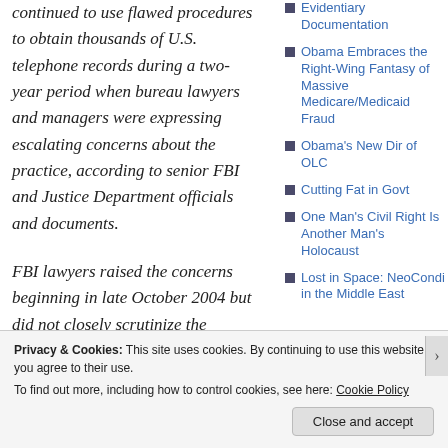continued to use flawed procedures to obtain thousands of U.S. telephone records during a two-year period when bureau lawyers and managers were expressing escalating concerns about the practice, according to senior FBI and Justice Department officials and documents.
FBI lawyers raised the concerns beginning in late October 2004 but did not closely scrutinize the practice until last year, FBI officials
Evidentiary Documentation
Obama Embraces the Right-Wing Fantasy of Massive Medicare/Medicaid Fraud
Obama's New Dir of OLC
Cutting Fat in Govt
One Man's Civil Right Is Another Man's Holocaust
Lost in Space: NeoCondi in the Middle East
Privacy & Cookies: This site uses cookies. By continuing to use this website, you agree to their use. To find out more, including how to control cookies, see here: Cookie Policy
Close and accept